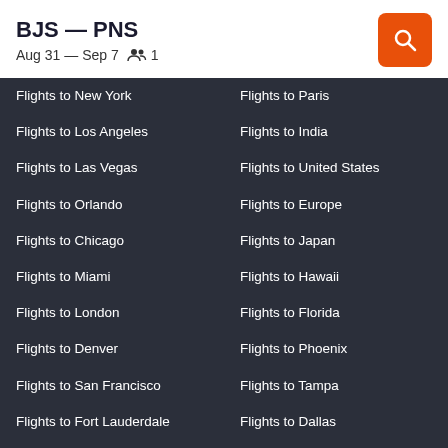BJS — PNS
Aug 31 — Sep 7   1
Flights to New York
Flights to Los Angeles
Flights to Las Vegas
Flights to Orlando
Flights to Chicago
Flights to Miami
Flights to London
Flights to Denver
Flights to San Francisco
Flights to Fort Lauderdale
Flights to Washington, D.C.
Flights to Seattle
Flights to Boston
Flights to Atlanta
Flights to Paris
Flights to India
Flights to United States
Flights to Europe
Flights to Japan
Flights to Hawaii
Flights to Florida
Flights to Phoenix
Flights to Tampa
Flights to Dallas
Flights to Honolulu
Flights to Houston
Flights to San Diego